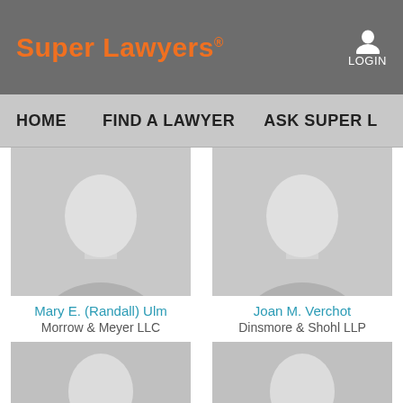Super Lawyers® LOGIN
HOME
FIND A LAWYER
ASK SUPER L...
[Figure (photo): Default silhouette avatar placeholder for Mary E. (Randall) Ulm]
Mary E. (Randall) Ulm
Morrow & Meyer LLC
[Figure (photo): Default silhouette avatar placeholder for Joan M. Verchot]
Joan M. Verchot
Dinsmore & Shohl LLP
[Figure (photo): Default silhouette avatar placeholder, third lawyer]
[Figure (photo): Default silhouette avatar placeholder, fourth lawyer]